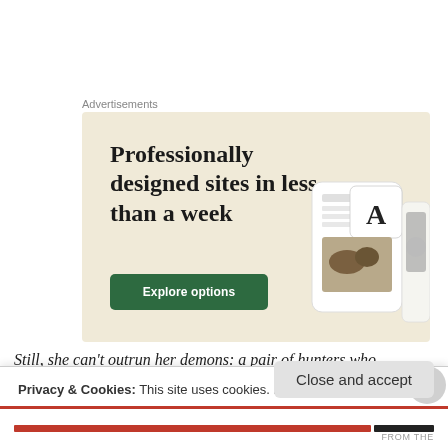Advertisements
[Figure (screenshot): Advertisement banner with beige background showing 'Professionally designed sites in less than a week' headline, a green 'Explore options' button, and screenshot images of website designs on the right side.]
Still, she can't outrun her demons: a pair of hunters who
Privacy & Cookies: This site uses cookies. By continuing to use this website, you agree to their use.
To find out more, including how to control cookies, see here: Cookie Policy
Close and accept
FROM THE